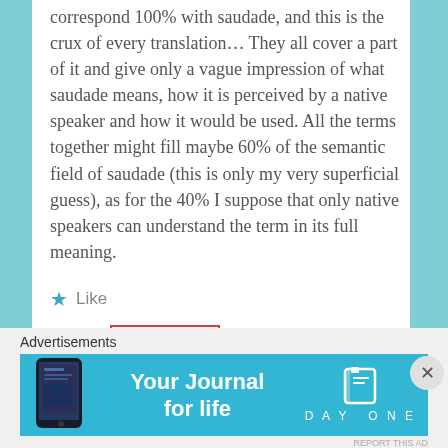correspond 100% with saudade, and this is the crux of every translation… They all cover a part of it and give only a vague impression of what saudade means, how it is perceived by a native speaker and how it would be used. All the terms together might fill maybe 60% of the semantic field of saudade (this is only my very superficial guess), as for the 40% I suppose that only native speakers can understand the term in its full meaning.
Like
REPLY
Advertisements
[Figure (infographic): Day One app advertisement banner with cyan/teal background, phone mockup on left, text 'Your Journal for life' in center, and Day One logo with book icon on right]